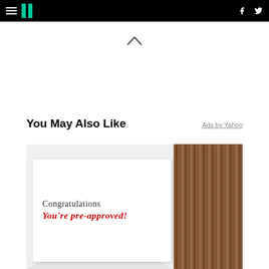HuffPost navigation header with logo, hamburger menu, Facebook and Twitter icons
You May Also Like
Ads by Yahoo
[Figure (photo): Photo of a white envelope with a card reading 'Congratulations You're pre-approved!' on a wooden surface background]